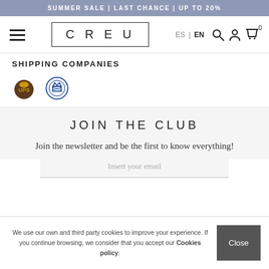SUMMER SALE | LAST CHANCE | UP TO 20%
[Figure (logo): Navigation bar with hamburger menu, CREU logo, ES/EN language toggle, search, account, and cart icons]
SHIPPING COMPANIES
[Figure (logo): UPS shipping company logo and Correos (Spanish postal service) logo]
JOIN THE CLUB
Join the newsletter and be the first to know everything!
Insert your email
We use our own and third party cookies to improve your experience. If you continue browsing, we consider that you accept our Cookies policy.